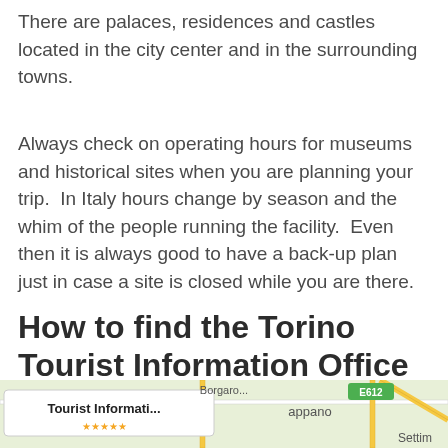There are palaces, residences and castles located in the city center and in the surrounding towns.
Always check on operating hours for museums and historical sites when you are planning your trip.  In Italy hours change by season and the whim of the people running the facility.  Even then it is always good to have a back-up plan just in case a site is closed while you are there.
How to find the Torino Tourist Information Office & Map
[Figure (map): Google Maps screenshot showing Torino Tourist Information Office location with a label 'Tourist Informati...' and nearby area labels including 'appano', 'E612', 'Settim']